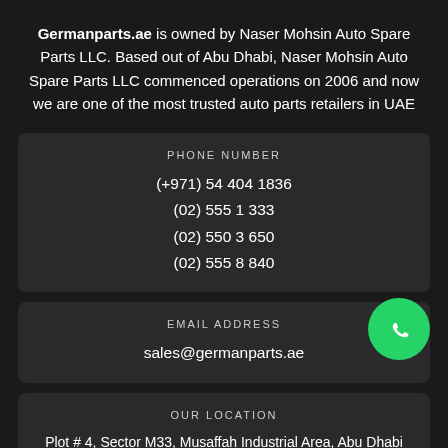Germanparts.ae is owned by Naser Mohsin Auto Spare Parts LLC. Based out of Abu Dhabi, Naser Mohsin Auto Spare Parts LLC commenced operations on 2006 and now we are one of the most trusted auto parts retailers in UAE
PHONE NUMBER
(+971) 54 404 1836
(02) 555 1 333
(02) 550 3 650
(02) 555 8 840
EMAIL ADDRESS
sales@germanparts.ae
OUR LOCATION
Plot # 4, Sector M33, Musaffah Industrial Area, Abu Dhabi